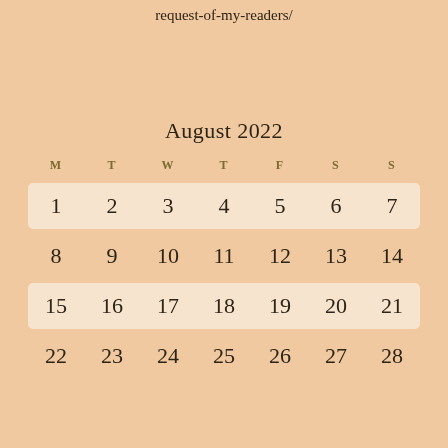request-of-my-readers/
August 2022
| M | T | W | T | F | S | S |
| --- | --- | --- | --- | --- | --- | --- |
| 1 | 2 | 3 | 4 | 5 | 6 | 7 |
| 8 | 9 | 10 | 11 | 12 | 13 | 14 |
| 15 | 16 | 17 | 18 | 19 | 20 | 21 |
| 22 | 23 | 24 | 25 | 26 | 27 | 28 |